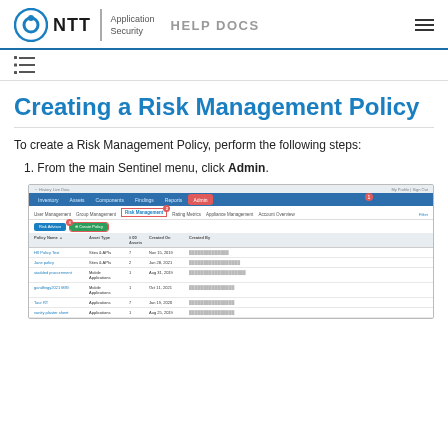NTT Application Security HELP DOCS
[Figure (screenshot): NTT Application Security Help Docs website header with logo, navigation hamburger menu]
Creating a Risk Management Policy
To create a Risk Management Policy, perform the following steps:
1. From the main Sentinel menu, click Admin.
[Figure (screenshot): Screenshot of Sentinel application showing Admin menu selected, Risk Management submenu, with Risk Advisor and Create Policy buttons, and a table listing policies with columns Policy Name, Asset Type, # 00 Assets, Created On, Created By.]